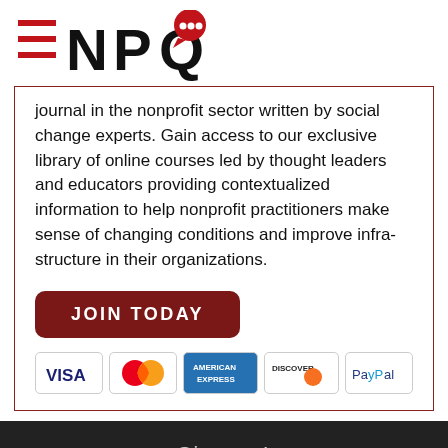[Figure (logo): NPQ logo with three red horizontal lines on the left and NPQ text with a red speech bubble dot on Q]
journal in the nonprofit sector written by social change experts. Gain access to our exclusive library of online courses led by thought leaders and educators providing contextualized information to help nonprofit practitioners make sense of changing conditions and improve infra-structure in their organizations.
[Figure (other): JOIN TODAY button — dark red rounded rectangle with white uppercase bold text]
[Figure (other): Payment method icons: VISA, MasterCard, American Express, Discover, PayPal]
Sign up!